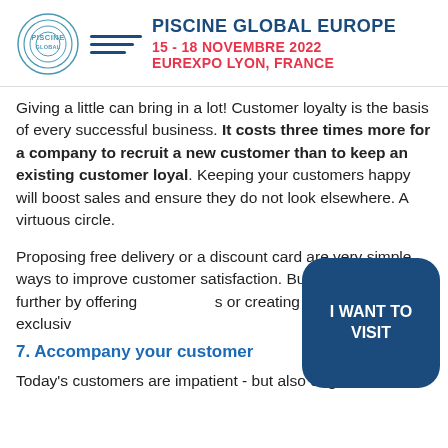PISCINE GLOBAL EUROPE 15 - 18 NOVEMBRE 2022 EUREXPO LYON, FRANCE
Giving a little can bring in a lot! Customer loyalty is the basis of every successful business. It costs three times more for a company to recruit a new customer than to keep an existing customer loyal. Keeping your customers happy will boost sales and ensure they do not look elsewhere. A virtuous circle.
Proposing free delivery or a discount card are very simple ways to improve customer satisfaction. But you can go even further by offering [...]s or creating a VIP club with exclusiv[...]
[Figure (other): Dark blue rounded rectangle button with text I WANT TO VISIT]
7. Accompany your customer[...]
Today's customers are impatient - but also eager to